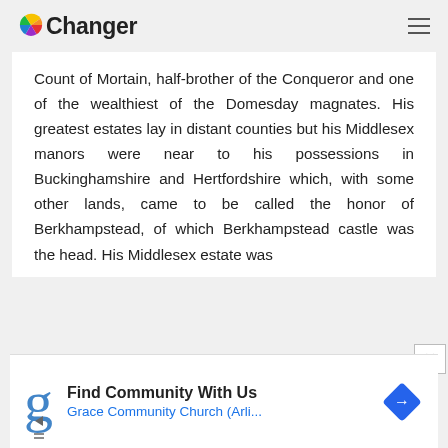IOChanger
Count of Mortain, half-brother of the Conqueror and one of the wealthiest of the Domesday magnates. His greatest estates lay in distant counties but his Middlesex manors were near to his possessions in Buckinghamshire and Hertfordshire which, with some other lands, came to be called the honor of Berkhampstead, of which Berkhampstead castle was the head. His Middlesex estate was
[Figure (other): Advertisement banner: Find Community With Us - Grace Community Church (Arli...)]